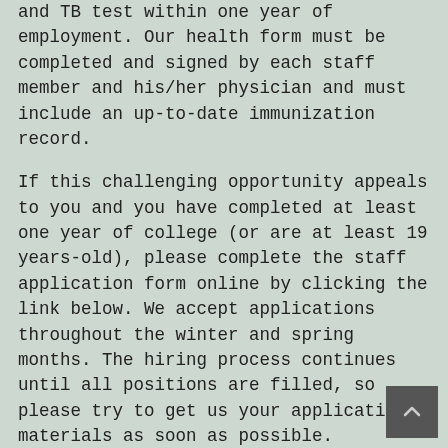and TB test within one year of employment. Our health form must be completed and signed by each staff member and his/her physician and must include an up-to-date immunization record.
If this challenging opportunity appeals to you and you have completed at least one year of college (or are at least 19 years-old), please complete the staff application form online by clicking the link below. We accept applications throughout the winter and spring months. The hiring process continues until all positions are filled, so please try to get us your application materials as soon as possible.